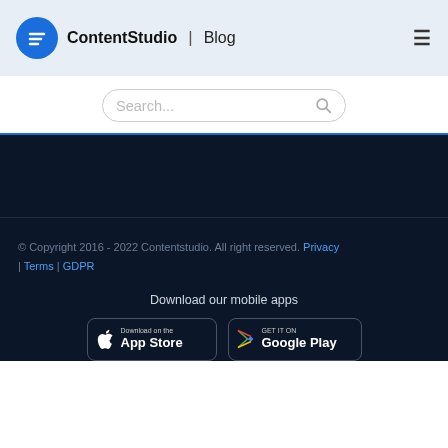ContentStudio | Blog
Search...
© Copyright 2016 - 2022 Contentstudio. All right reserved. Privacy | Terms | GDPR
Download our mobile apps
[Figure (screenshot): App Store download button]
[Figure (screenshot): Google Play download button]